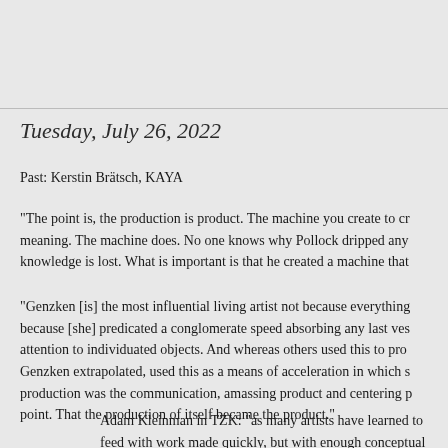Tuesday, July 26, 2022
Past: Kerstin Brätsch, KAYA
"The point is, the production is product. The machine you create to cr meaning. The machine does. No one knows why Pollock dripped any knowledge is lost. What is important is that he created a machine that
"Genzken [is] the most influential living artist not because everything because [she] predicated a conglomerate speed absorbing any last ves attention to individuated objects. And whereas others used this to pro Genzken extrapolated, used this as a means of acceleration in which s production was the communication, amassing product and centering p point. That the production of itself became the product."
Adam Kleinman in TZK: "as many artists have learned to feed with work made quickly, but with enough conceptual acrobati